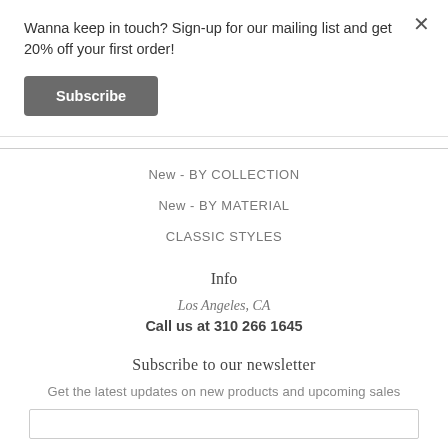Wanna keep in touch? Sign-up for our mailing list and get 20% off your first order!
Subscribe
New - BY COLLECTION
New - BY MATERIAL
CLASSIC STYLES
Info
Los Angeles, CA
Call us at 310 266 1645
Subscribe to our newsletter
Get the latest updates on new products and upcoming sales